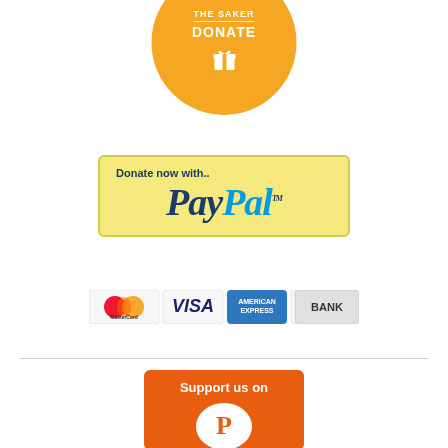[Figure (logo): Orange circular donate button with 'THE SAKER DONATE' text and gift icon in white]
[Figure (logo): PayPal donation banner with yellow/gold background showing 'Donate now with..' and PayPal logo]
[Figure (logo): Row of payment method icons: MasterCard, VISA, American Express, Discover Network, BANK]
[Figure (logo): Orange 'Support us on Patreon' button partially visible at bottom of page]